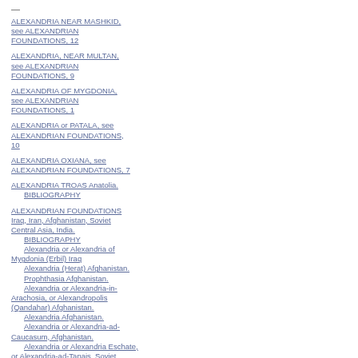ALEXANDRIA NEAR MASHKID, see ALEXANDRIAN FOUNDATIONS, 12
ALEXANDRIA, NEAR MULTAN, see ALEXANDRIAN FOUNDATIONS, 9
ALEXANDRIA OF MYGDONIA, see ALEXANDRIAN FOUNDATIONS, 1
ALEXANDRIA or PATALA, see ALEXANDRIAN FOUNDATIONS, 10
ALEXANDRIA OXIANA, see ALEXANDRIAN FOUNDATIONS, 7
ALEXANDRIA TROAS Anatolia. BIBLIOGRAPHY
ALEXANDRIAN FOUNDATIONS Iraq, Iran, Afghanistan, Soviet Central Asia, India. BIBLIOGRAPHY Alexandria or Alexandria of Mygdonia (Erbil) Iraq Alexandria (Herat) Afghanistan. Prophthasia Afghanistan. Alexandria or Alexandria-in-Arachosia, or Alexandropolis (Qandahar) Afghanistan. Alexandria Afghanistan. Alexandria or Alexandria-ad-Caucasum, Afghanistan. Alexandria or Alexandria Eschate, or Alexandria-ad-Tanais, Soviet Central Asia. Alexandria or Alexandria Oxiana.